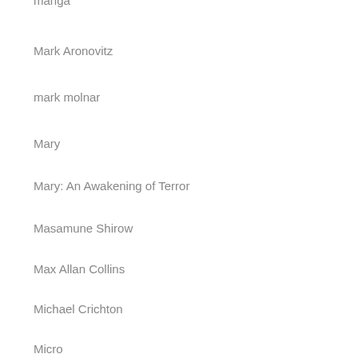manga
Mark Aronovitz
mark molnar
Mary
Mary: An Awakening of Terror
Masamune Shirow
Max Allan Collins
Michael Crichton
Micro
mystery
News
Night Shift
Night Tastings